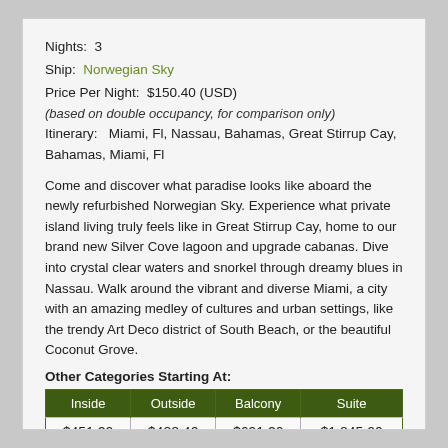Nights:  3
Ship:  Norwegian Sky
Price Per Night:  $150.40 (USD)
(based on double occupancy, for comparison only)
Itinerary:   Miami, Fl, Nassau, Bahamas, Great Stirrup Cay, Bahamas, Miami, Fl
Come and discover what paradise looks like aboard the newly refurbished Norwegian Sky. Experience what private island living truly feels like in Great Stirrup Cay, home to our brand new Silver Cove lagoon and upgrade cabanas. Dive into crystal clear waters and snorkel through dreamy blues in Nassau. Walk around the vibrant and diverse Miami, a city with an amazing medley of cultures and urban settings, like the trendy Art Deco district of South Beach, or the beautiful Coconut Grove.
Other Categories Starting At:
| Inside | Outside | Balcony | Suite |
| --- | --- | --- | --- |
| $451.20
Cat:  IF | $488.40
Cat:  OF | $691.20
Cat:  BF | $1,845.00
Cat:  SE |